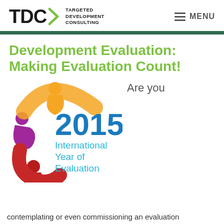TDC Targeted Development Consulting | MENU
Development Evaluation: Making Evaluation Count!
Are you
[Figure (logo): 2015 International Year of Evaluation logo with colorful circular figures in purple, orange, red and an arc shape, with '2015' in bold blue and 'International Year of Evaluation' in light blue text]
contemplating or even commissioning an evaluation